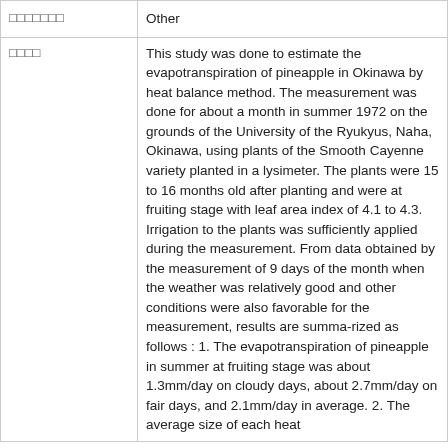| □□□□□□□ | Other |
| □□□□ | This study was done to estimate the evapotranspiration of pineapple in Okinawa by heat balance method. The measurement was done for about a month in summer 1972 on the grounds of the University of the Ryukyus, Naha, Okinawa, using plants of the Smooth Cayenne variety planted in a lysimeter. The plants were 15 to 16 months old after planting and were at fruiting stage with leaf area index of 4.1 to 4.3. Irrigation to the plants was sufficiently applied during the measurement. From data obtained by the measurement of 9 days of the month when the weather was relatively good and other conditions were also favorable for the measurement, results are summa-rized as follows : 1. The evapotranspiration of pineapple in summer at fruiting stage was about 1.3mm/day on cloudy days, about 2.7mm/day on fair days, and 2.1mm/day in average. 2. The average size of each heat |